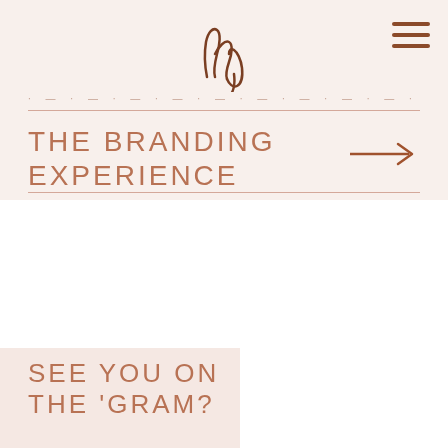[Figure (logo): Cursive/script logo reading 'hey' or similar brand mark in dark brown]
[Figure (infographic): Hamburger menu icon with three horizontal brown lines]
THE BRANDING EXPERIENCE
[Figure (infographic): Right-pointing arrow in brown color]
SEE YOU ON THE 'GRAM?